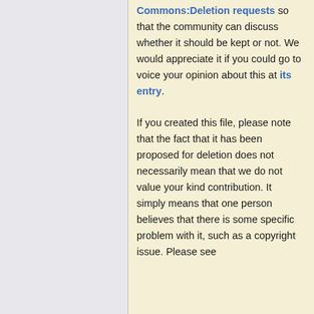Commons:Deletion requests so that the community can discuss whether it should be kept or not. We would appreciate it if you could go to voice your opinion about this at its entry.

If you created this file, please note that the fact that it has been proposed for deletion does not necessarily mean that we do not value your kind contribution. It simply means that one person believes that there is some specific problem with it, such as a copyright issue. Please see